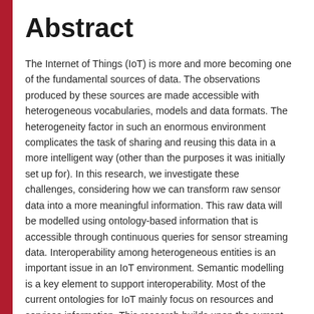Abstract
The Internet of Things (IoT) is more and more becoming one of the fundamental sources of data. The observations produced by these sources are made accessible with heterogeneous vocabularies, models and data formats. The heterogeneity factor in such an enormous environment complicates the task of sharing and reusing this data in a more intelligent way (other than the purposes it was initially set up for). In this research, we investigate these challenges, considering how we can transform raw sensor data into a more meaningful information. This raw data will be modelled using ontology-based information that is accessible through continuous queries for sensor streaming data. Interoperability among heterogeneous entities is an important issue in an IoT environment. Semantic modelling is a key element to support interoperability. Most of the current ontologies for IoT mainly focus on resources and services information. This research builds upon the current state-of-the-art ontologies to provide contextual information and facilitate sensor data querying. In this research, we present an Ontology to represent an IoT environment, with emphasis on